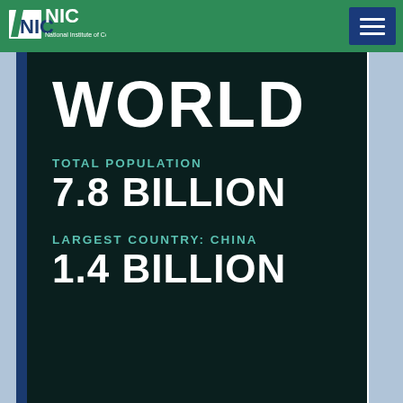NIC — National Institute of Corrections
WORLD
TOTAL POPULATION
7.8 BILLION
LARGEST COUNTRY: CHINA
1.4 BILLION